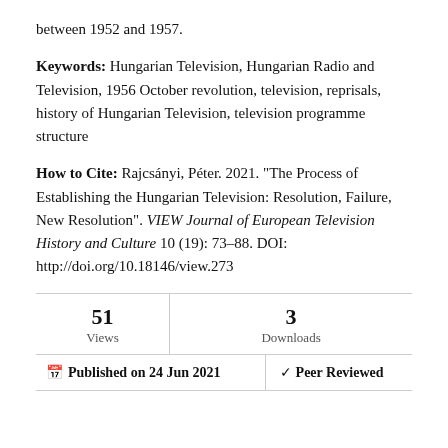between 1952 and 1957.
Keywords: Hungarian Television, Hungarian Radio and Television, 1956 October revolution, television, reprisals, history of Hungarian Television, television programme structure
How to Cite: Rajcsányi, Péter. 2021. "The Process of Establishing the Hungarian Television: Resolution, Failure, New Resolution". VIEW Journal of European Television History and Culture 10 (19): 73–88. DOI: http://doi.org/10.18146/view.273
| Views | Downloads |
| --- | --- |
| 51 | 3 |
Published on 24 Jun 2021   Peer Reviewed